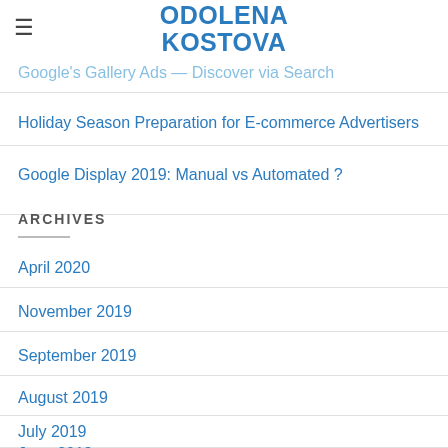ODOLENA KOSTOVA
rketing with TikTok... to Know
Google's Gallery Ads — Discover via Search
Holiday Season Preparation for E-commerce Advertisers
Google Display 2019: Manual vs Automated ?
ARCHIVES
April 2020
November 2019
September 2019
August 2019
July 2019
June 2019